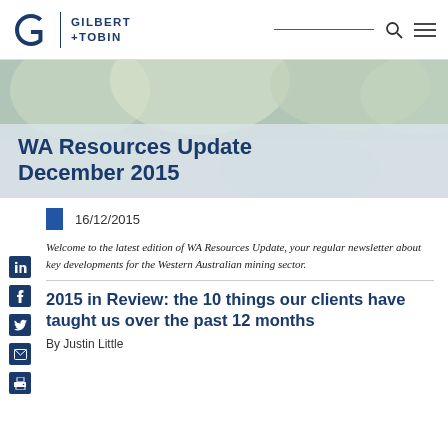GILBERT +TOBIN
[Figure (photo): Hero banner with nature/outdoor background image and overlay showing title text]
WA Resources Update December 2015
16/12/2015
Welcome to the latest edition of WA Resources Update, your regular newsletter about key developments for the Western Australian mining sector.
2015 in Review: the 10 things our clients have taught us over the past 12 months
By Justin Little